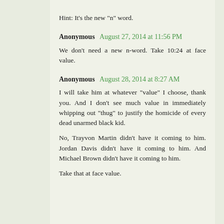Hint: It's the new "n" word.
Anonymous  August 27, 2014 at 11:56 PM
We don't need a new n-word. Take 10:24 at face value.
Anonymous  August 28, 2014 at 8:27 AM
I will take him at whatever "value" I choose, thank you. And I don't see much value in immediately whipping out "thug" to justify the homicide of every dead unarmed black kid.

No, Trayvon Martin didn't have it coming to him. Jordan Davis didn't have it coming to him. And Michael Brown didn't have it coming to him.

Take that at face value.